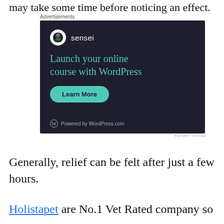may take some time before noticing an effect.
[Figure (illustration): Advertisement for Sensei: dark navy background, Sensei logo (white circle with tree icon and 'sensei' text), headline 'Launch your online course with WordPress' in teal, green 'Learn More' button, 'Powered by WordPress.com' footer with WordPress logo.]
REPORT THIS AD
Generally, relief can be felt after just a few hours.
Holistapet are No.1 Vet Rated company so you